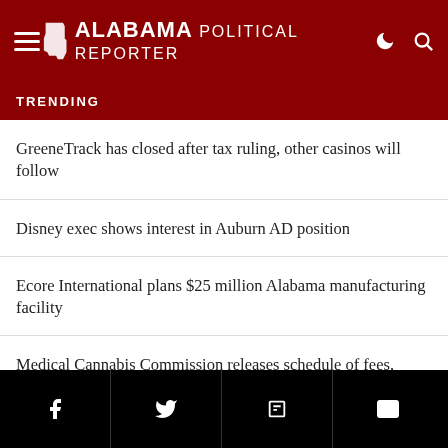Alabama Political Reporter
TRENDING
GreeneTrack has closed after tax ruling, other casinos will follow
Disney exec shows interest in Auburn AD position
Ecore International plans $25 million Alabama manufacturing facility
Medical Cannabis Commission releases schedule of fees, penalties and fines
FAA grants $17.8 million for Alabama airports
h health